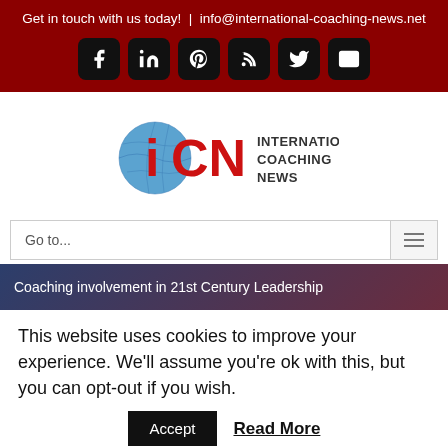Get in touch with us today! | info@international-coaching-news.net
[Figure (logo): Social media icons: Facebook, LinkedIn, Pinterest, RSS, Twitter, Email — white icons on black rounded square buttons]
[Figure (logo): ICN International Coaching News logo with globe graphic and red iCN letters]
Go to...
Coaching involvement in 21st Century Leadership
This website uses cookies to improve your experience. We'll assume you're ok with this, but you can opt-out if you wish.
Accept   Read More